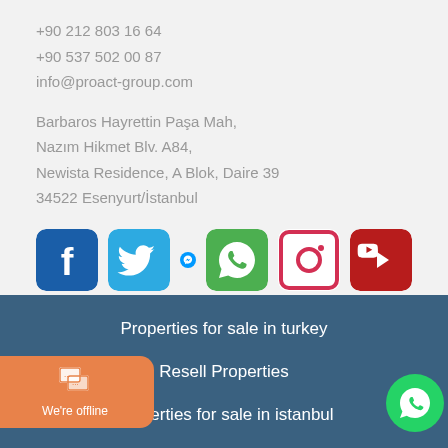+90 212 803 16 64
+90 537 502 00 87
info@proact-group.com
Barbaros Hayrettin Paşa Mah,
Nazım Hikmet Blv. A84,
Newista Residence, A Blok, Daire 39
34522 Esenyurt/İstanbul
[Figure (infographic): Row of 6 social media icons: Facebook (dark blue), Twitter (light blue), Messenger (blue circle), WhatsApp (green), Instagram (pink/red outline), YouTube (dark red)]
Properties for sale in turkey
Resell Properties
Properties for sale in istanbul